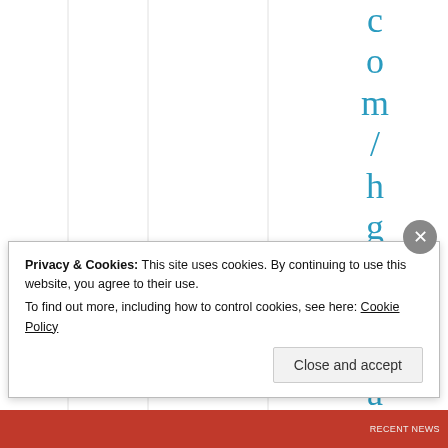[Figure (other): Webpage screenshot showing vertical teal/blue letters spelling 'com/hgraca' stacked top to bottom on right side of page, with vertical grid lines, partially obscured by a cookie consent banner overlay]
Privacy & Cookies: This site uses cookies. By continuing to use this website, you agree to their use.
To find out more, including how to control cookies, see here: Cookie Policy
Close and accept